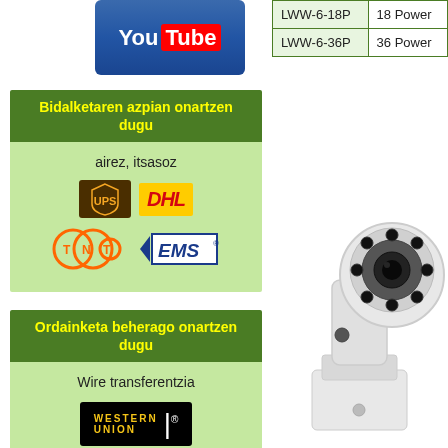[Figure (logo): YouTube logo button with blue background]
[Figure (infographic): Shipping methods box with header 'Bidalketaren azpian onartzen dugu', text 'airez, itsasoz', UPS, DHL, TNT, EMS logos on green background]
[Figure (infographic): Payment methods box with header 'Ordainketa beherago onartzen dugu', text 'Wire transferentzia', Western Union logo on green background]
| Model | Description |
| --- | --- |
| LWW-6-18P | 18 Power |
| LWW-6-36P | 36 Power |
[Figure (photo): White security camera with LED illuminator on mounting bracket]